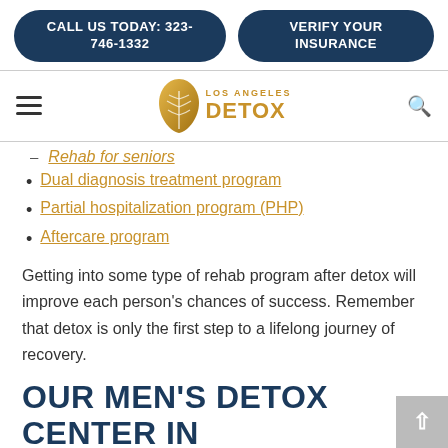CALL US TODAY: 323-746-1332 | VERIFY YOUR INSURANCE
[Figure (logo): Los Angeles Detox logo with gold leaf icon and gold text]
Rehab for seniors
Dual diagnosis treatment program
Partial hospitalization program (PHP)
Aftercare program
Getting into some type of rehab program after detox will improve each person's chances of success. Remember that detox is only the first step to a lifelong journey of recovery.
OUR MEN'S DETOX CENTER IN LOS ANGELES, CA